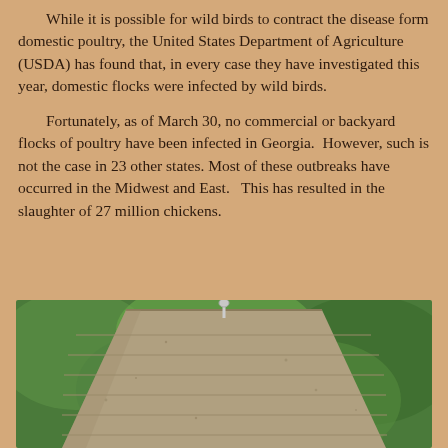While it is possible for wild birds to contract the disease form domestic poultry, the United States Department of Agriculture (USDA) has found that, in every case they have investigated this year, domestic flocks were infected by wild birds.
Fortunately, as of March 30, no commercial or backyard flocks of poultry have been infected in Georgia. However, such is not the case in 23 other states. Most of these outbreaks have occurred in the Midwest and East. This has resulted in the slaughter of 27 million chickens.
[Figure (photo): Close-up photo of a wooden birdhouse roof with a metal hook at the top, blurred green foliage in the background.]